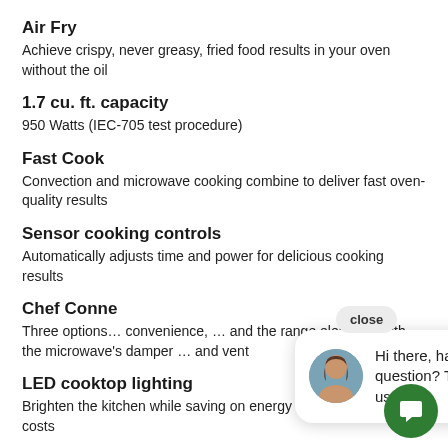Air Fry
Achieve crispy, never greasy, fried food results in your oven without the oil
1.7 cu. ft. capacity
950 Watts (IEC-705 test procedure)
Fast Cook
Convection and microwave cooking combine to deliver fast oven-quality results
Sensor cooking controls
Automatically adjusts time and power for delicious cooking results
Chef Conne…
Three options… convenience, … and the range elements with the microwave's damper … and vent
LED cooktop lighting
Brighten the kitchen while saving on energy and maintenance costs
[Figure (illustration): Chat widget popup with avatar photo of a woman, text 'Hi there, have a question? Text us here.' and a green chat icon button. A 'close' button appears in upper right.]